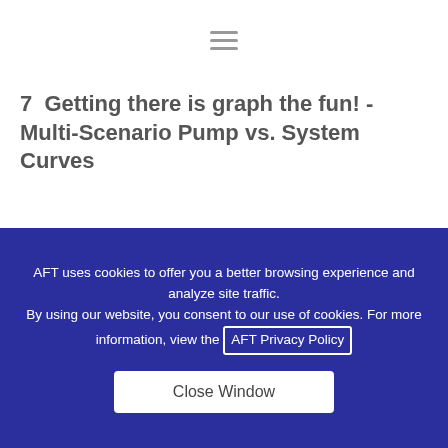☰
7  Getting there is graph the fun! - Multi-Scenario Pump vs. System Curves
AFT uses cookies to offer you a better browsing experience and analyze site traffic. By using our website, you consent to our use of cookies. For more information, view the AFT Privacy Policy
Close Window